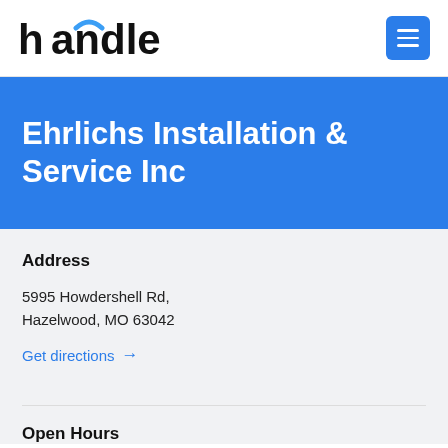handle
Ehrlichs Installation & Service Inc
Address
5995 Howdershell Rd,
Hazelwood, MO 63042
Get directions →
Open Hours